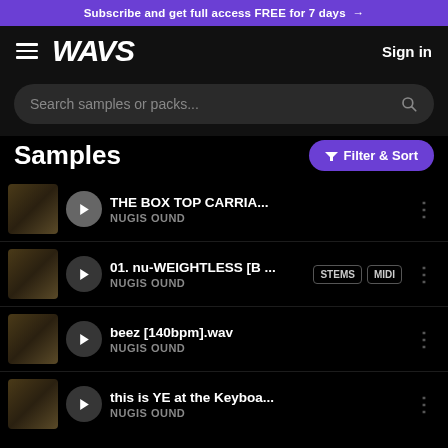Subscribe and get full access FREE for 7 days →
[Figure (logo): WAVS logo with hamburger menu and Sign in button on dark nav bar]
Search samples or packs...
Samples
THE BOX TOP CARRIA... | NUGIS OUND
01. nu-WEIGHTLESS [B ... | NUGIS OUND | STEMS | MIDI
beez [140bpm].wav | NUGIS OUND
this is YE at the Keyboa... | NUGIS OUND